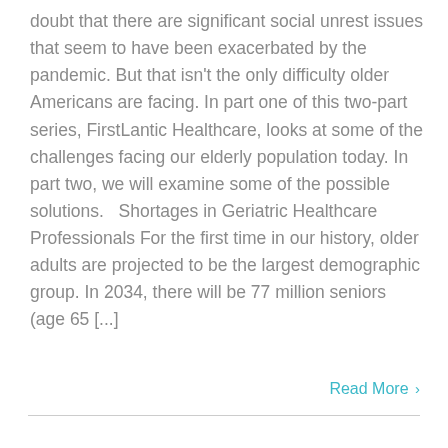doubt that there are significant social unrest issues that seem to have been exacerbated by the pandemic. But that isn't the only difficulty older Americans are facing. In part one of this two-part series, FirstLantic Healthcare, looks at some of the challenges facing our elderly population today. In part two, we will examine some of the possible solutions.   Shortages in Geriatric Healthcare Professionals For the first time in our history, older adults are projected to be the largest demographic group. In 2034, there will be 77 million seniors (age 65 [...]
Read More ›